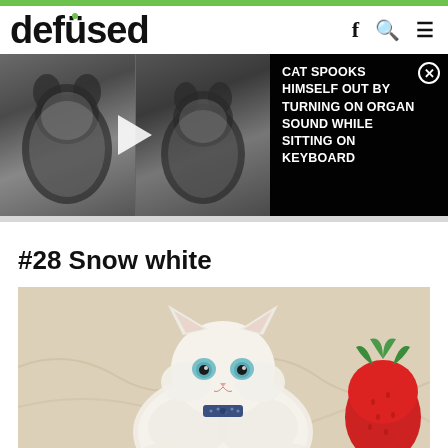defused
[Figure (screenshot): Video banner showing two frames of a fluffy black and white cat, with a dark overlay on the right displaying the title text]
CAT SPOOKS HIMSELF OUT BY TURNING ON ORGAN SOUND WHILE SITTING ON KEYBOARD
#28 Snow white
[Figure (photo): White fluffy Persian cat with blue eyes wearing a dark polka-dot bow tie, lying on white fabric next to a strawberry plush toy]